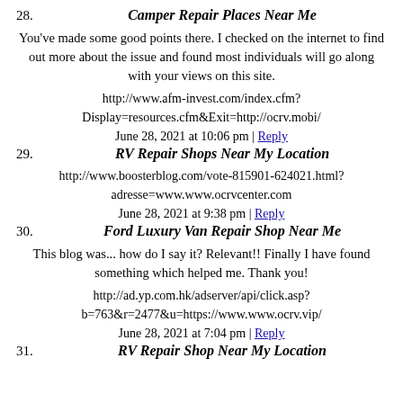28. Camper Repair Places Near Me
You've made some good points there. I checked on the internet to find out more about the issue and found most individuals will go along with your views on this site.
http://www.afm-invest.com/index.cfm?Display=resources.cfm&Exit=http://ocrv.mobi/
June 28, 2021 at 10:06 pm | Reply
29. RV Repair Shops Near My Location
http://www.boosterblog.com/vote-815901-624021.html?adresse=www.www.ocrvcenter.com
June 28, 2021 at 9:38 pm | Reply
30. Ford Luxury Van Repair Shop Near Me
This blog was... how do I say it? Relevant!! Finally I have found something which helped me. Thank you!
http://ad.yp.com.hk/adserver/api/click.asp?b=763&r=2477&u=https://www.www.ocrv.vip/
June 28, 2021 at 7:04 pm | Reply
31. RV Repair Shop Near My Location